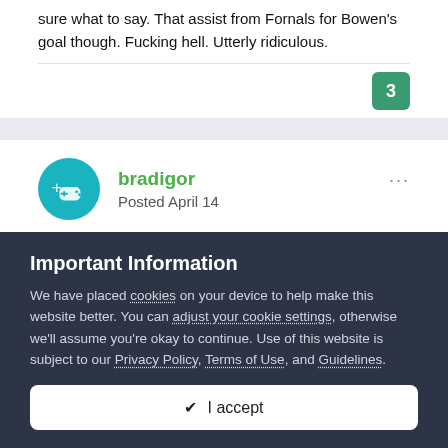sure what to say. That assist from Fornals for Bowen's goal though. Fucking hell. Utterly ridiculous.
bradigor
Posted April 14
Well fucking done! Hope you make the final
Important Information
We have placed cookies on your device to help make this website better. You can adjust your cookie settings, otherwise we'll assume you're okay to continue. Use of this website is subject to our Privacy Policy, Terms of Use, and Guidelines.
✔ I accept